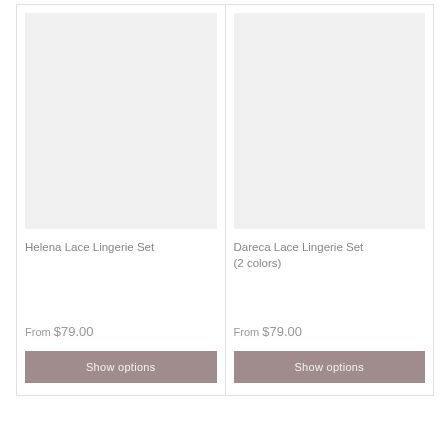[Figure (photo): Product image placeholder for Helena Lace Lingerie Set, light gray background]
Helena Lace Lingerie Set
From $79.00
Show options
[Figure (photo): Product image placeholder for Dareca Lace Lingerie Set, light gray background]
Dareca Lace Lingerie Set (2 colors)
From $79.00
Show options